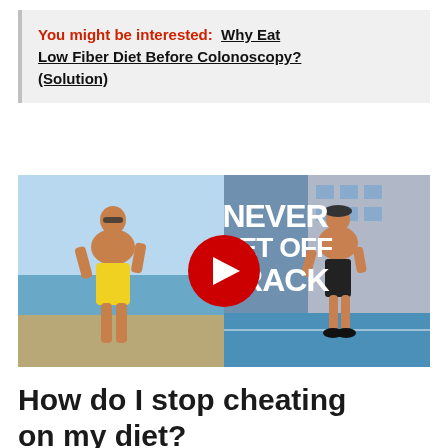You might be interested: Why Eat Low Fiber Diet Before Colonoscopy? (Solution)
[Figure (screenshot): YouTube video thumbnail showing two muscular men, one at the beach in yellow shorts and one on a rooftop court, with text 'NEVER GET OFF TRACK' and a YouTube play button overlay in the center.]
How do I stop cheating on my diet?